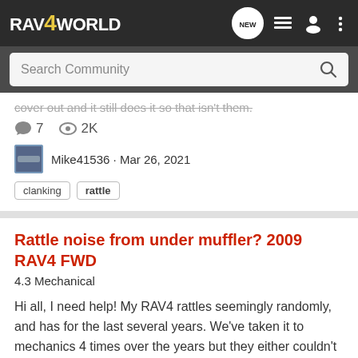RAV4WORLD
Search Community
cover out and it still does it so that isn't them.
7 comments  2K views
Mike41536 · Mar 26, 2021
clanking
rattle
Rattle noise from under muffler? 2009 RAV4 FWD
4.3 Mechanical
Hi all, I need help! My RAV4 rattles seemingly randomly, and has for the last several years. We've taken it to mechanics 4 times over the years but they either couldn't find the noise or couldn't make the rattle happen. After spending some time with it myself here is I've learned, 1) It can set...
1 comment  696 views